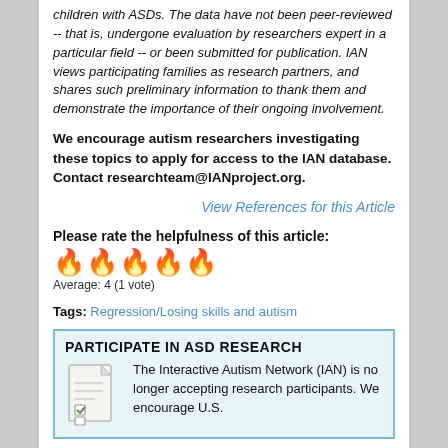children with ASDs. The data have not been peer-reviewed -- that is, undergone evaluation by researchers expert in a particular field -- or been submitted for publication. IAN views participating families as research partners, and shares such preliminary information to thank them and demonstrate the importance of their ongoing involvement.
We encourage autism researchers investigating these topics to apply for access to the IAN database. Contact researchteam@IANproject.org.
View References for this Article
Please rate the helpfulness of this article:
Average: 4 (1 vote)
Tags: Regression/Losing skills and autism
PARTICIPATE IN ASD RESEARCH The Interactive Autism Network (IAN) is no longer accepting research participants. We encourage U.S.